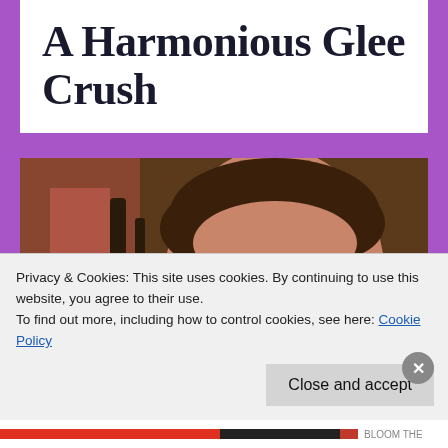A Harmonious Glee Crush
[Figure (photo): A young man with styled dark brown hair, smiling slightly, wearing a dark blazer over a patterned shirt, photographed against a blurred background with warm tones and some red/white signage visible.]
Privacy & Cookies: This site uses cookies. By continuing to use this website, you agree to their use.
To find out more, including how to control cookies, see here: Cookie Policy
Close and accept